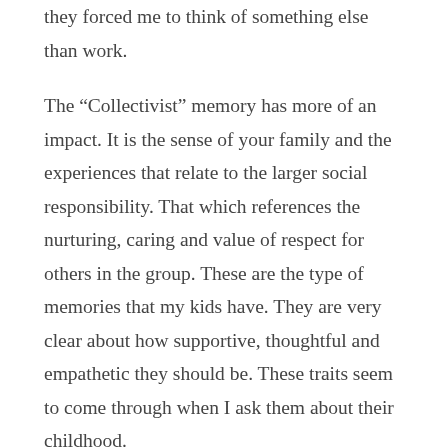they forced me to think of something else than work.
The “Collectivist” memory has more of an impact. It is the sense of your family and the experiences that relate to the larger social responsibility. That which references the nurturing, caring and value of respect for others in the group. These are the type of memories that my kids have. They are very clear about how supportive, thoughtful and empathetic they should be. These traits seem to come through when I ask them about their childhood.
Looking at these two ways of “memory”, the